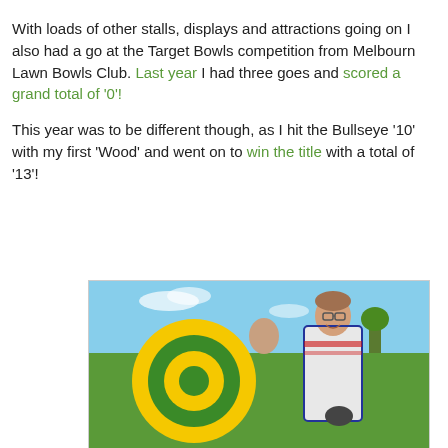With loads of other stalls, displays and attractions going on I also had a go at the Target Bowls competition from Melbourn Lawn Bowls Club. Last year I had three goes and scored a grand total of '0'!

This year was to be different though, as I hit the Bullseye '10' with my first 'Wood' and went on to win the title with a total of '13'!
[Figure (photo): A person standing in front of a large inflatable yellow and green target/bullseye, holding a lawn bowl, smiling at the camera. Outdoor event on a sunny day.]